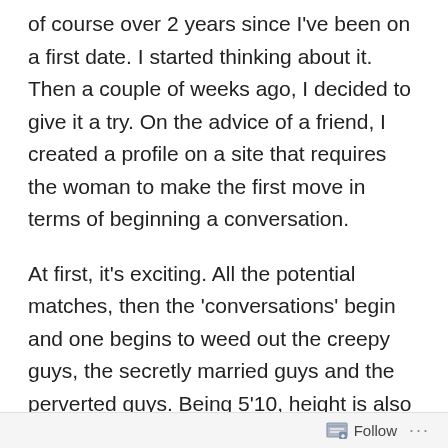of course over 2 years since I've been on a first date. I started thinking about it. Then a couple of weeks ago, I decided to give it a try. On the advice of a friend, I created a profile on a site that requires the woman to make the first move in terms of beginning a conversation.
At first, it's exciting. All the potential matches, then the 'conversations' begin and one begins to weed out the creepy guys, the secretly married guys and the perverted guys. Being 5'10, height is also a factor not only for me, but for a potential date. I'm not 5'5 looking to date men who are over 6ft tall, it is very much a level
Follow ···